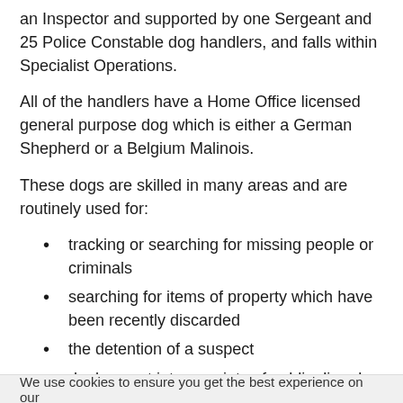an Inspector and supported by one Sergeant and 25 Police Constable dog handlers, and falls within Specialist Operations.
All of the handlers have a Home Office licensed general purpose dog which is either a German Shepherd or a Belgium Malinois.
These dogs are skilled in many areas and are routinely used for:
tracking or searching for missing people or criminals
searching for items of property which have been recently discarded
the detention of a suspect
deployment into a variety of public disorder operations from football matches to large scale civil disobedience; all of our general purpose dogs have been trained in public order tactics.
We use cookies to ensure you get the best experience on our